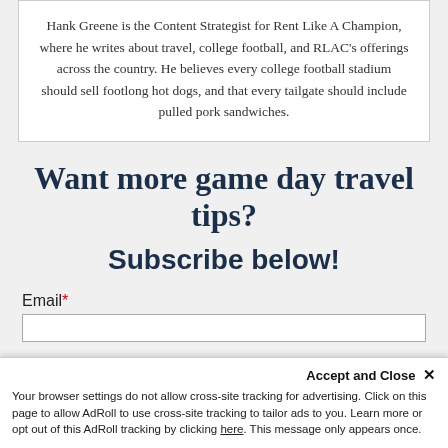Hank Greene is the Content Strategist for Rent Like A Champion, where he writes about travel, college football, and RLAC's offerings across the country. He believes every college football stadium should sell footlong hot dogs, and that every tailgate should include pulled pork sandwiches.
Want more game day travel tips?
Subscribe below!
Email*
Accept and Close ×
Your browser settings do not allow cross-site tracking for advertising. Click on this page to allow AdRoll to use cross-site tracking to tailor ads to you. Learn more or opt out of this AdRoll tracking by clicking here. This message only appears once.